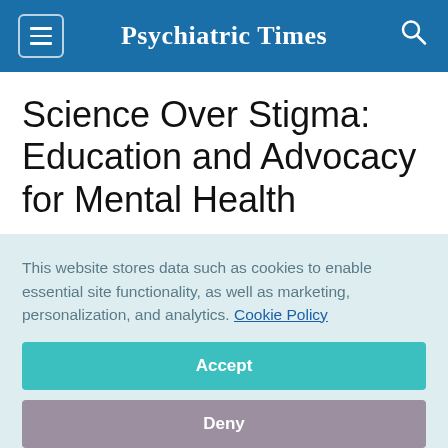Psychiatric Times
Science Over Stigma: Education and Advocacy for Mental Health
August 13, 2021
Ronald W. Pies, MD
This website stores data such as cookies to enable essential site functionality, as well as marketing, personalization, and analytics. Cookie Policy
Accept
Deny